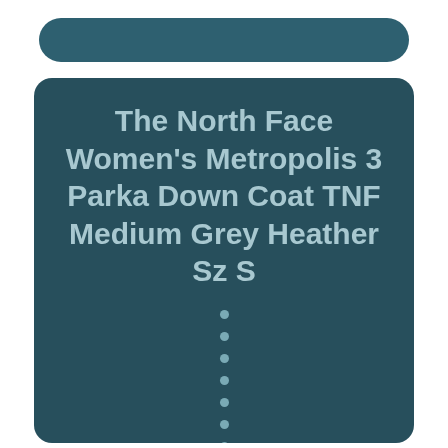The North Face Women's Metropolis 3 Parka Down Coat TNF Medium Grey Heather Sz S